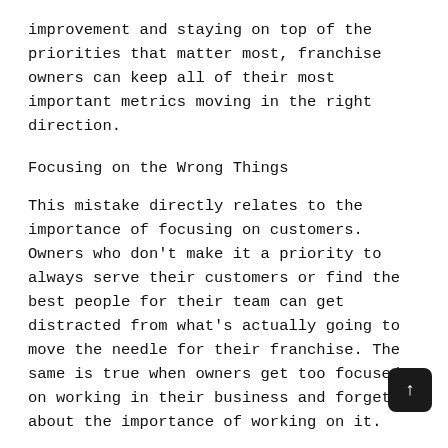improvement and staying on top of the priorities that matter most, franchise owners can keep all of their most important metrics moving in the right direction.
Focusing on the Wrong Things
This mistake directly relates to the importance of focusing on customers. Owners who don't make it a priority to always serve their customers or find the best people for their team can get distracted from what's actually going to move the needle for their franchise. The same is true when owners get too focused on working in their business and forget about the importance of working on it.
As with any type of business opportunity, there are challenges that go along with running a successful franchise. But by choosing All About Kids, you will always have the training and support needed to stay on the right track. If